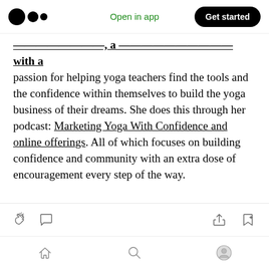Medium app navigation bar with logo, 'Open in app' link, and 'Get started' button
[truncated/linked author description] with a passion for helping yoga teachers find the tools and the confidence within themselves to build the yoga business of their dreams. She does this through her podcast: Marketing Yoga With Confidence and online offerings. All of which focuses on building confidence and community with an extra dose of encouragement every step of the way.
Action icons: clap, comment, share, bookmark-add. Bottom navigation: home, search, profile.